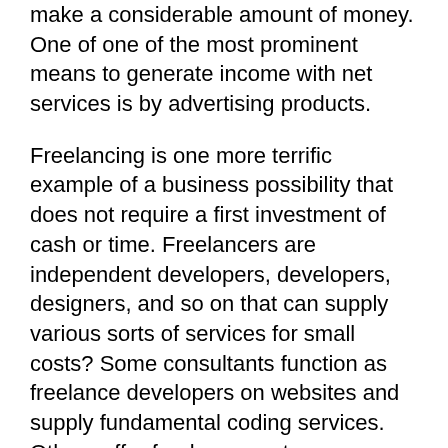make a considerable amount of money. One of one of the most prominent means to generate income with net services is by advertising products.
Freelancing is one more terrific example of a business possibility that does not require a first investment of cash or time. Freelancers are independent developers, developers, designers, and so on that can supply various sorts of services for small costs? Some consultants function as freelance developers on websites and supply fundamental coding services. Others offer freelance customer care support, website design, and also different other types of solutions.
Another choice for internet business chance